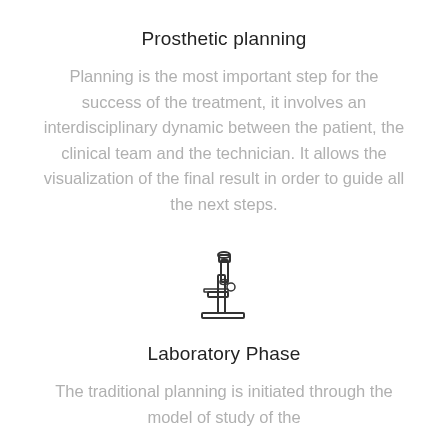Prosthetic planning
Planning is the most important step for the success of the treatment, it involves an interdisciplinary dynamic between the patient, the clinical team and the technician. It allows the visualization of the final result in order to guide all the next steps.
[Figure (illustration): Icon of a microscope, line-art style in dark gray/black outline on white background]
Laboratory Phase
The traditional planning is initiated through the model of study of the